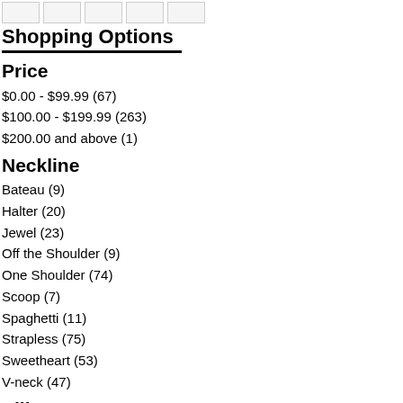Shopping Options
Price
$0.00 - $99.99 (67)
$100.00 - $199.99 (263)
$200.00 and above (1)
Neckline
Bateau (9)
Halter (20)
Jewel (23)
Off the Shoulder (9)
One Shoulder (74)
Scoop (7)
Spaghetti (11)
Strapless (75)
Sweetheart (53)
V-neck (47)
Silhouette & Sets
1PC:Jumpsuit (1)
A-Line (83)